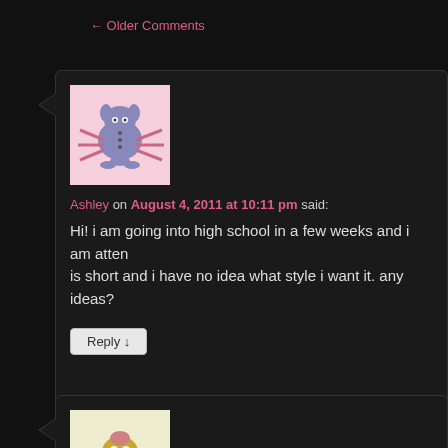← Older Comments
[Figure (illustration): Cartoon avatar of a crab-like creature with purple/grey body on pink background]
Ashley on August 4, 2011 at 10:11 pm said:
Hi! i am going into high school in a few weeks and i am atten... is short and i have no idea what style i want it. any ideas?
Reply ↓
[Figure (illustration): Cartoon avatar of a yellow blob-like creature with tentacles on cream background]
Paul Guardino on August 6, 2011 at 7:51 am said:
Alexa. I think you Rock. You are such an amazing personality